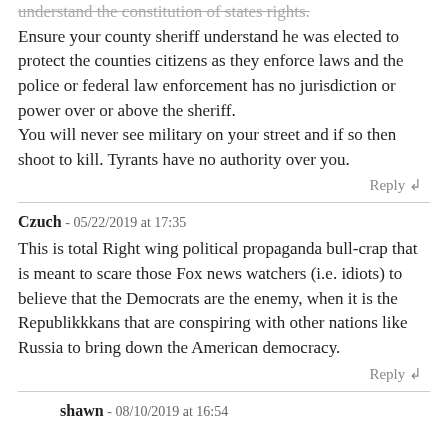understand the constitution of states rights.
Ensure your county sheriff understand he was elected to protect the counties citizens as they enforce laws and the police or federal law enforcement has no jurisdiction or power over or above the sheriff.
You will never see military on your street and if so then shoot to kill. Tyrants have no authority over you.
Reply ↲
Czuch - 05/22/2019 at 17:35
This is total Right wing political propaganda bull-crap that is meant to scare those Fox news watchers (i.e. idiots) to believe that the Democrats are the enemy, when it is the Republikkkans that are conspiring with other nations like Russia to bring down the American democracy.
Reply ↲
shawn - 08/10/2019 at 16:54